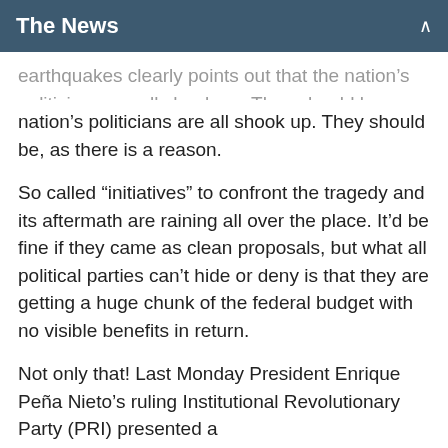The News
earthquakes clearly points out that the nation's politicians are all shook up. They should be, as there is a reason.
So called “initiatives” to confront the tragedy and its aftermath are raining all over the place. It’d be fine if they came as clean proposals, but what all political parties can’t hide or deny is that they are getting a huge chunk of the federal budget with no visible benefits in return.
Not only that! Last Monday President Enrique Peña Nieto’s ruling Institutional Revolutionary Party (PRI) presented a